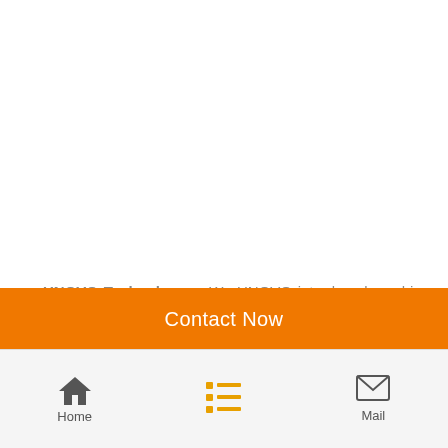[Figure (photo): White empty area at top of mobile app page]
»»»UNOVO Technology      We UNOVO introduced machine structure design technology from Finland in 2011, and We imported roll forming machine from Australia for learning their advanced roller design technology in 2013, We also have Italy engieer be our design consultant in 2013, we done this all just for
Contact Now
Home  Mail